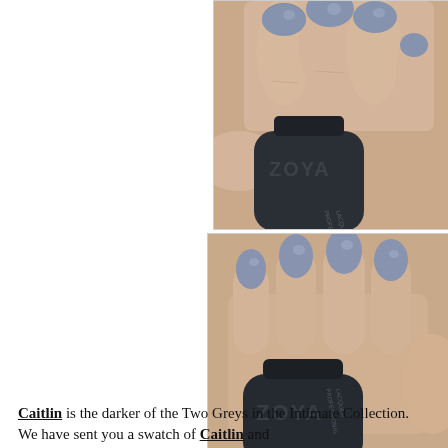[Figure (photo): Top photo: A hand holding a Zoya nail polish bottle, nails painted in a muted blue-grey color. The bottle label reads ZOYA PROFESSIONAL LACQUER.]
[Figure (photo): Bottom photo: A hand holding a Zoya nail polish bottle, nails painted in a similar muted blue-grey color. The bottle label reads ZOYA PROFESSIONAL LACQUER.]
Caitlin is the darker of the Two Greys in the Intimate Collection. We have sent you a swatch of Caitlin and